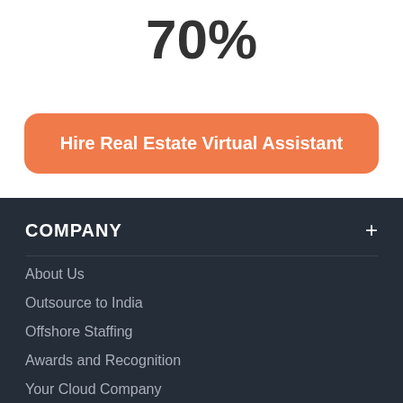70%
Hire Real Estate Virtual Assistant
COMPANY
About Us
Outsource to India
Offshore Staffing
Awards and Recognition
Your Cloud Company
Infrastructure